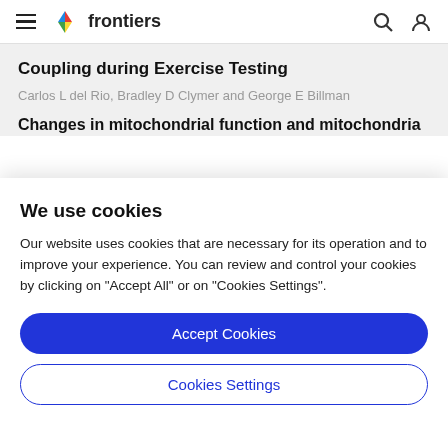frontiers
Coupling during Exercise Testing
Carlos L del Rio, Bradley D Clymer and George E Billman
Changes in mitochondrial function and mitochondria
We use cookies
Our website uses cookies that are necessary for its operation and to improve your experience. You can review and control your cookies by clicking on "Accept All" or on "Cookies Settings".
Accept Cookies
Cookies Settings